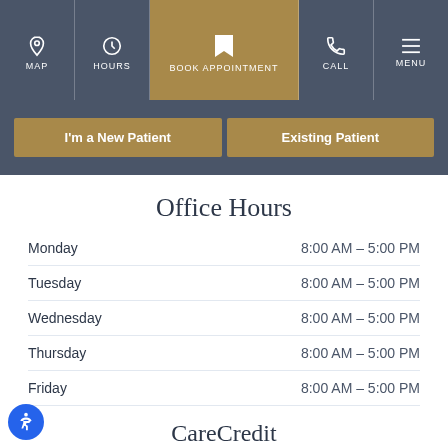MAP | HOURS | BOOK APPOINTMENT | CALL | MENU
I'm a New Patient | Existing Patient
Office Hours
| Day | Hours |
| --- | --- |
| Monday | 8:00 AM – 5:00 PM |
| Tuesday | 8:00 AM – 5:00 PM |
| Wednesday | 8:00 AM – 5:00 PM |
| Thursday | 8:00 AM – 5:00 PM |
| Friday | 8:00 AM – 5:00 PM |
CareCredit
CareCredit is a health care credit card designed for...